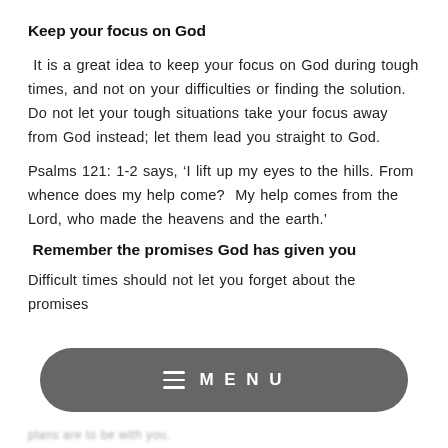Keep your focus on God
It is a great idea to keep your focus on God during tough times, and not on your difficulties or finding the solution. Do not let your tough situations take your focus away from God instead; let them lead you straight to God.
Psalms 121: 1-2 says, ‘I lift up my eyes to the hills. From whence does my help come?  My help comes from the Lord, who made the heavens and the earth.’
Remember the promises God has given you
Difficult times should not let you forget about the promises
[Figure (other): Mobile navigation menu bar overlay with hamburger icon and MENU text]
plans are to be with you.